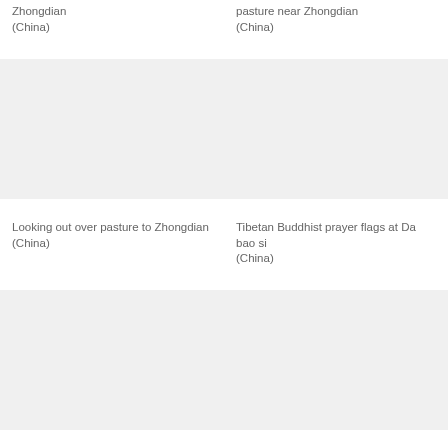Zhongdian (China)
pasture near Zhongdian (China)
[Figure (photo): Blank/white photo placeholder top left]
[Figure (photo): Blank/white photo placeholder top right]
Looking out over pasture to Zhongdian (China)
Tibetan Buddhist prayer flags at Da bao si (China)
[Figure (photo): Blank/white photo placeholder bottom left]
[Figure (photo): Blank/white photo placeholder bottom right]